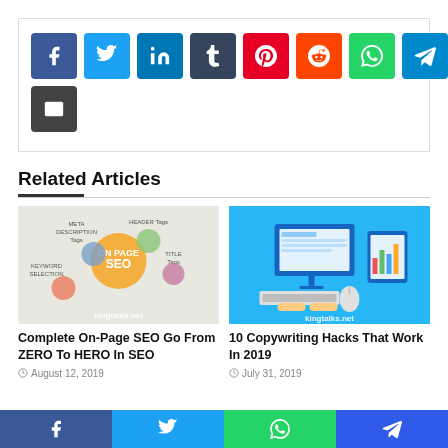[Figure (other): Social share buttons: Facebook, Twitter, LinkedIn, Tumblr, Pinterest, Reddit, WhatsApp, Telegram, Email]
Related Articles
[Figure (infographic): On Page SEO infographic with tags: META DESCRIPTION Tags, HEADER Tags, TITLE Tags, KEYWORD SELECTION, ON PAGE SEO — watermark: kingtalks.net]
Complete On-Page SEO Go From ZERO To HERO In SEO
August 12, 2019
[Figure (illustration): Copywriting / content marketing illustration showing desktop computer, keyboard, tablet with chart, on blue background — watermark: kingtalks.net]
10 Copywriting Hacks That Work In 2019
July 31, 2019
[Figure (other): Bottom sticky share bar with Facebook, Twitter, WhatsApp, Telegram icons]